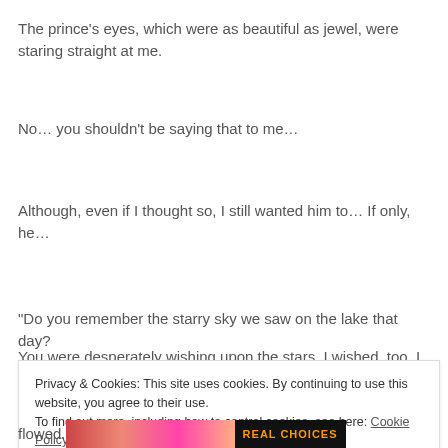The prince's eyes, which were as beautiful as jewel, were staring straight at me.
No… you shouldn't be saying that to me…
Although, even if I thought so, I still wanted him to… If only, he…
“Do you remember the starry sky we saw on the lake that day?
You were desperately wishing upon the stars. I wished, too. I
Privacy & Cookies: This site uses cookies. By continuing to use this website, you agree to their use.
To find out more, including how to control cookies, see here: Cookie Policy
Close and accept
flowed.